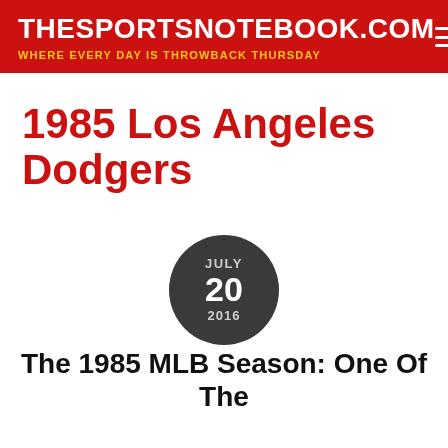THESPORTSNOTEBOOK.COM — WHERE EVERY DAY IS THROWBACK THURSDAY
1985 Los Angeles Dodgers
JULY 20 2016
The 1985 MLB Season: One Of The